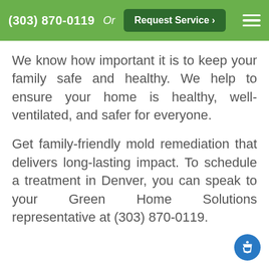(303) 870-0119  Or  Request Service >
We know how important it is to keep your family safe and healthy. We help to ensure your home is healthy, well-ventilated, and safer for everyone.
Get family-friendly mold remediation that delivers long-lasting impact. To schedule a treatment in Denver, you can speak to your Green Home Solutions representative at (303) 870-0119.